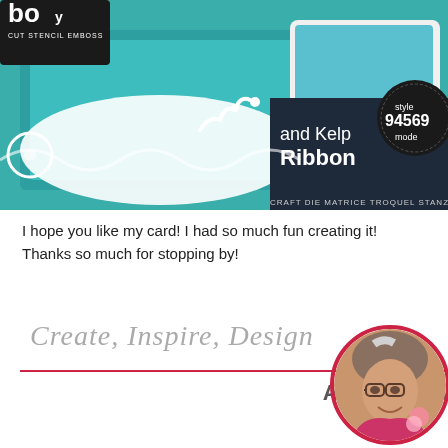[Figure (photo): Craft supplies photo showing teal/blue card making materials, dies, and product packaging including 'and Kelp Ribbon' craft die with style number 94569 and text 'CRAFT DIE MATRICE TROQUEL STANZE'. Also visible is a 'CUT STENCIL EMBOSS' product label.]
I hope you like my card!  I had so much fun creating it!
Thanks so much for stopping by!
Create, Inspire, Design
ANGIE CIMBALO
[Figure (photo): Circular profile photo of Angie Cimbalo, a woman with glasses and gray/brown hair, smiling, with a red circular border.]